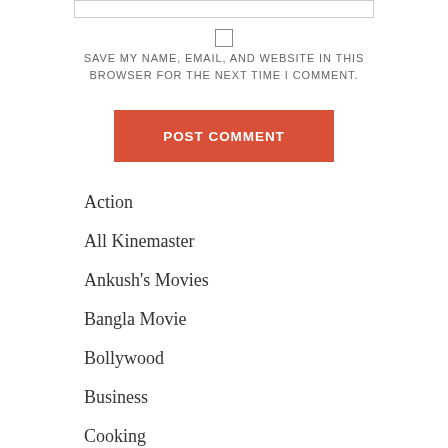[input field at top]
SAVE MY NAME, EMAIL, AND WEBSITE IN THIS BROWSER FOR THE NEXT TIME I COMMENT.
POST COMMENT
Action
All Kinemaster
Ankush's Movies
Bangla Movie
Bollywood
Business
Cooking
Cricket